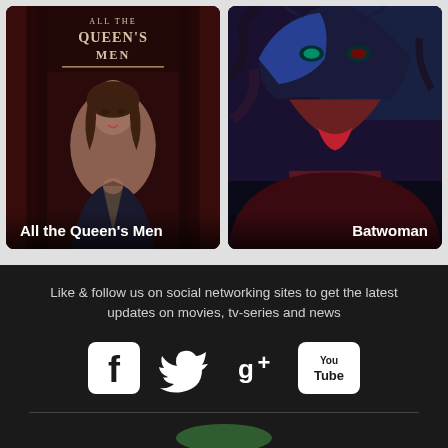[Figure (photo): TV show poster for 'All the Queen's Men' featuring a woman in a dark suit with decorative text above]
All the Queen's Men
[Figure (illustration): Animated/illustrated poster for 'Batwoman' featuring a masked female superhero in red and blue]
Batwoman
Like & follow us on social networking sites to get the latest updates on movies, tv-series and news
[Figure (logo): Social media icons: Facebook, Twitter, Google+, YouTube]
[Figure (logo): Website footer logo partially visible at bottom]